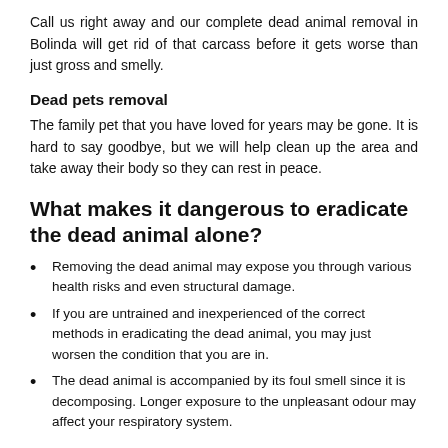Call us right away and our complete dead animal removal in Bolinda will get rid of that carcass before it gets worse than just gross and smelly.
Dead pets removal
The family pet that you have loved for years may be gone. It is hard to say goodbye, but we will help clean up the area and take away their body so they can rest in peace.
What makes it dangerous to eradicate the dead animal alone?
Removing the dead animal may expose you through various health risks and even structural damage.
If you are untrained and inexperienced of the correct methods in eradicating the dead animal, you may just worsen the condition that you are in.
The dead animal is accompanied by its foul smell since it is decomposing. Longer exposure to the unpleasant odour may affect your respiratory system.